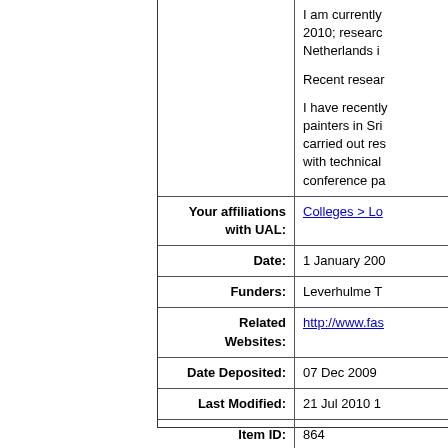| Field | Value |
| --- | --- |
| (abstract) | I am currently 2010; researc Netherlands i

Recent resear

I have recently painters in Sri carried out res with technical conference pa |
| Your affiliations with UAL: | Colleges > Lo |
| Date: | 1 January 200 |
| Funders: | Leverhulme T |
| Related Websites: | http://www.fas |
| Date Deposited: | 07 Dec 2009 |
| Last Modified: | 21 Jul 2010 1 |
| Item ID: | 864 |
| URI: | https://ualrese |